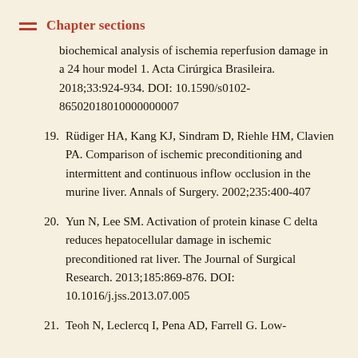Chapter sections
biochemical analysis of ischemia reperfusion damage in a 24 hour model 1. Acta Cirúrgica Brasileira. 2018;33:924-934. DOI: 10.1590/s0102-86502018010000000007
19. Rüdiger HA, Kang KJ, Sindram D, Riehle HM, Clavien PA. Comparison of ischemic preconditioning and intermittent and continuous inflow occlusion in the murine liver. Annals of Surgery. 2002;235:400-407
20. Yun N, Lee SM. Activation of protein kinase C delta reduces hepatocellular damage in ischemic preconditioned rat liver. The Journal of Surgical Research. 2013;185:869-876. DOI: 10.1016/j.jss.2013.07.005
21. Teoh N, Leclercq I, Pena AD, Farrell G. Low-